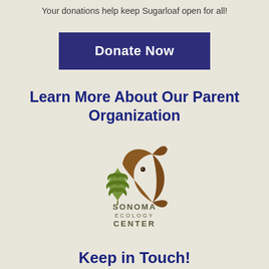Your donations help keep Sugarloaf open for all!
[Figure (other): Dark blue rectangular button with white bold text reading 'Donate Now']
Learn More About Our Parent Organization
[Figure (logo): Sonoma Ecology Center logo: circular design with green oak leaf and brown fish, text reads SONOMA ECOLOGY CENTER]
Keep in Touch!